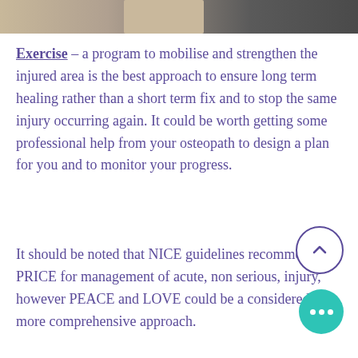[Figure (photo): Partial photo strip at top of page showing a person's shoulder/arm area and a blurred grey background]
Exercise – a program to mobilise and strengthen the injured area is the best approach to ensure long term healing rather than a short term fix and to stop the same injury occurring again. It could be worth getting some professional help from your osteopath to design a plan for you and to monitor your progress.
It should be noted that NICE guidelines recommend PRICE for management of acute, non serious, injury, however PEACE and LOVE could be a considered a more comprehensive approach.